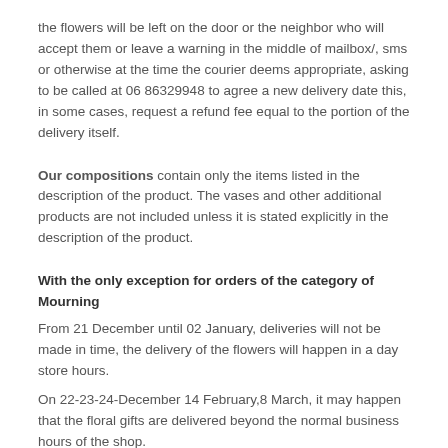the flowers will be left on the door or the neighbor who will accept them or leave a warning in the middle of mailbox/, sms or otherwise at the time the courier deems appropriate, asking to be called at 06 86329948 to agree a new delivery date this, in some cases, request a refund fee equal to the portion of the delivery itself.
Our compositions contain only the items listed in the description of the product. The vases and other additional products are not included unless it is stated explicitly in the description of the product.
With the only exception for orders of the category of Mourning
From 21 December until 02 January, deliveries will not be made in time, the delivery of the flowers will happen in a day store hours.
On 22-23-24-December 14 February,8 March, it may happen that the floral gifts are delivered beyond the normal business hours of the shop.
The prices indicated in the catalogue are inclusive of vat.